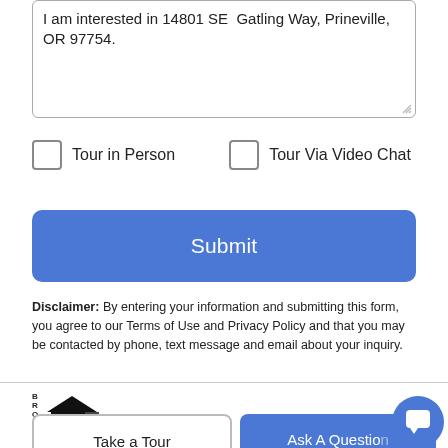I am interested in 14801 SE Gatling Way, Prineville, OR 97754.
Tour in Person
Tour Via Video Chat
Submit
Disclaimer: By entering your information and submitting this form, you agree to our Terms of Use and Privacy Policy and that you may be contacted by phone, text message and email about your inquiry.
[Figure (logo): Brookfield real estate logo with house icon]
Take a Tour
Ask A Question